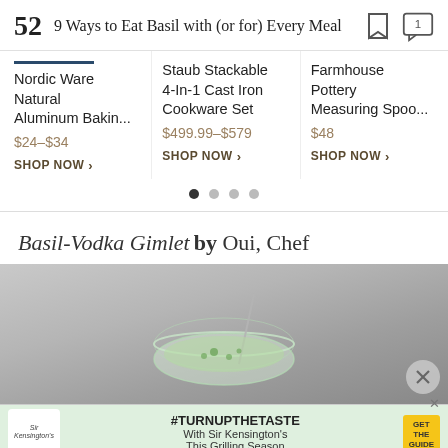52  9 Ways to Eat Basil with (or for) Every Meal
Nordic Ware Natural Aluminum Bakin...
$24–$34
SHOP NOW >
Staub Stackable 4-In-1 Cast Iron Cookware Set
$499.99–$579
SHOP NOW >
Farmhouse Pottery Measuring Spoo...
$48
SHOP NOW >
Basil-Vodka Gimlet by Oui, Chef
[Figure (photo): A cocktail glass with a light green drink and garnish, photographed from above on a grey background]
#TURNUPTHETASTE With Sir Kensington's This Grilling Season